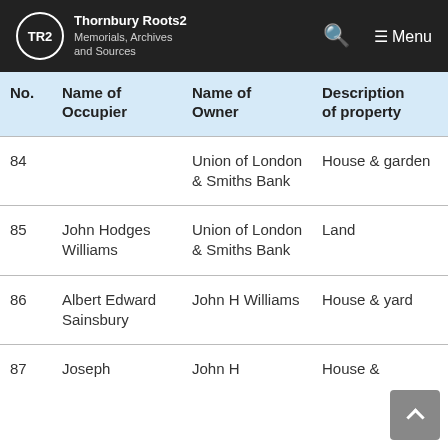TR2 Thornbury Roots2 Memorials, Archives and Sources
| No. | Name of Occupier | Name of Owner | Description of property |
| --- | --- | --- | --- |
| 84 |  | Union of London & Smiths Bank | House & garden |
| 85 | John Hodges Williams | Union of London & Smiths Bank | Land |
| 86 | Albert Edward Sainsbury | John H Williams | House & yard |
| 87 | Joseph | John H | House & |